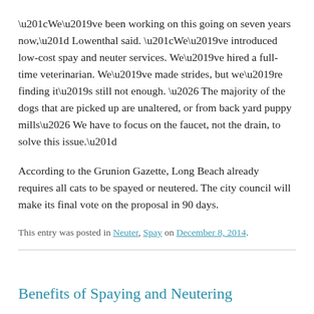“We’ve been working on this going on seven years now,” Lowenthal said. “We’ve introduced low-cost spay and neuter services. We’ve hired a full-time veterinarian. We’ve made strides, but we’re finding it’s still not enough. … The majority of the dogs that are picked up are unaltered, or from back yard puppy mills… We have to focus on the faucet, not the drain, to solve this issue.”
According to the Grunion Gazette, Long Beach already requires all cats to be spayed or neutered. The city council will make its final vote on the proposal in 90 days.
This entry was posted in Neuter, Spay on December 8, 2014.
Benefits of Spaying and Neutering